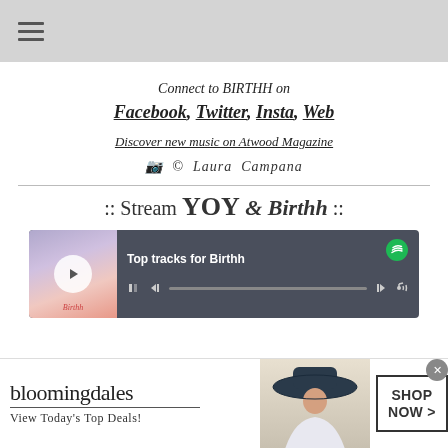☰ (hamburger menu)
Connect to BIRTHH on
Facebook, Twitter, Insta, Web
Discover new music on Atwood Magazine
📷 © Laura Campana
:: Stream YOY & Birthh ::
[Figure (screenshot): Spotify embedded player showing 'Top tracks for Birthh' with album art, play controls, and progress bar]
[Figure (screenshot): Bloomingdale's advertisement banner: 'View Today's Top Deals! SHOP NOW >' with model wearing wide-brim hat]